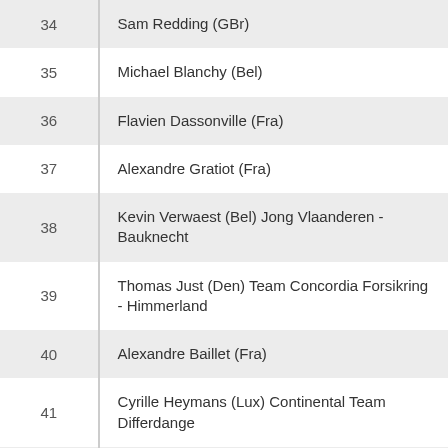| # | Name |
| --- | --- |
| 34 | Sam Redding (GBr) |
| 35 | Michael Blanchy (Bel) |
| 36 | Flavien Dassonville (Fra) |
| 37 | Alexandre Gratiot (Fra) |
| 38 | Kevin Verwaest (Bel) Jong Vlaanderen - Bauknecht |
| 39 | Thomas Just (Den) Team Concordia Forsikring - Himmerland |
| 40 | Alexandre Baillet (Fra) |
| 41 | Cyrille Heymans (Lux) Continental Team Differdange |
| 42 | Olivier Loncien (Fra) |